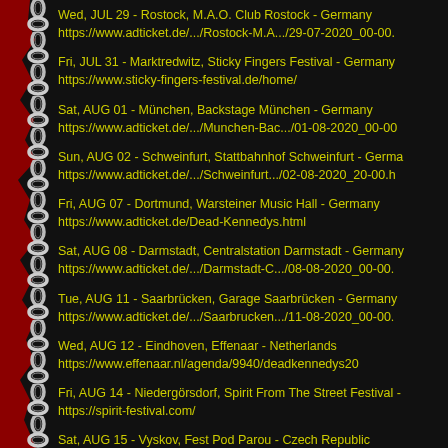Wed, JUL 29 - Rostock, M.A.O. Club Rostock - Germany
https://www.adticket.de/.../Rostock-M.A.../29-07-2020_00-00.
Fri, JUL 31 - Marktredwitz, Sticky Fingers Festival - Germany
https://www.sticky-fingers-festival.de/home/
Sat, AUG 01 - München, Backstage München - Germany
https://www.adticket.de/.../Munchen-Bac.../01-08-2020_00-00
Sun, AUG 02 - Schweinfurt, Stattbahnhof Schweinfurt - Germany
https://www.adticket.de/.../Schweinfurt.../02-08-2020_20-00.h
Fri, AUG 07 - Dortmund, Warsteiner Music Hall - Germany
https://www.adticket.de/Dead-Kennedys.html
Sat, AUG 08 - Darmstadt, Centralstation Darmstadt - Germany
https://www.adticket.de/.../Darmstadt-C.../08-08-2020_00-00.
Tue, AUG 11 - Saarbrücken, Garage Saarbrücken - Germany
https://www.adticket.de/.../Saarbrucken.../11-08-2020_00-00.
Wed, AUG 12 - Eindhoven, Effenaar - Netherlands
https://www.effenaar.nl/agenda/9940/deadkennedys20
Fri, AUG 14 - Niedergörsdorf, Spirit From The Street Festival -
https://spirit-festival.com/
Sat, AUG 15 - Vyskov, Fest Pod Parou - Czech Republic
http://podparou.cz/pruvodce?l=en
Sun, AUG 16 - Wien, ARENA WIEN - Austria
https://www.reservix.at/tickets-dead-kennedys/t15410